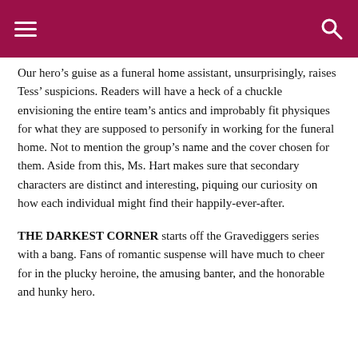Our hero's guise as a funeral home assistant, unsurprisingly, raises Tess' suspicions. Readers will have a heck of a chuckle envisioning the entire team's antics and improbably fit physiques for what they are supposed to personify in working for the funeral home. Not to mention the group's name and the cover chosen for them. Aside from this, Ms. Hart makes sure that secondary characters are distinct and interesting, piquing our curiosity on how each individual might find their happily-ever-after.
THE DARKEST CORNER starts off the Gravediggers series with a bang. Fans of romantic suspense will have much to cheer for in the plucky heroine, the amusing banter, and the honorable and hunky hero.